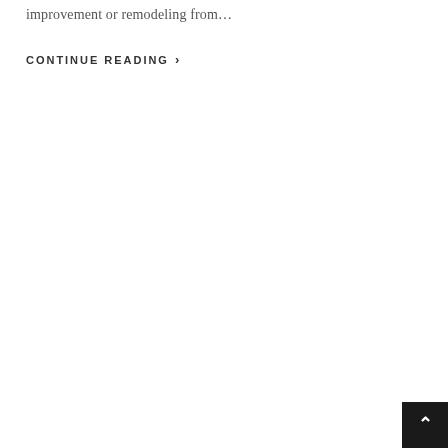improvement or remodeling from…
CONTINUE READING  ›